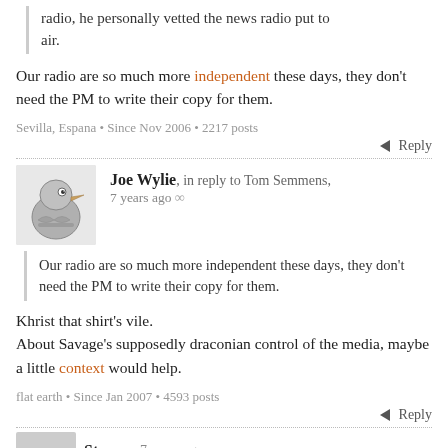radio, he personally vetted the news radio put to air.
Our radio are so much more independent these days, they don't need the PM to write their copy for them.
Sevilla, Espana • Since Nov 2006 • 2217 posts
Reply
Joe Wylie, in reply to Tom Semmens, 7 years ago
Our radio are so much more independent these days, they don't need the PM to write their copy for them.
Khrist that shirt's vile.
About Savage's supposedly draconian control of the media, maybe a little context would help.
flat earth • Since Jan 2007 • 4593 posts
Reply
Stassee, 7 years ago